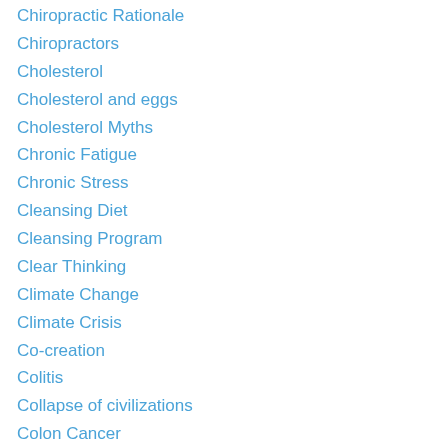Chiropractic Rationale
Chiropractors
Cholesterol
Cholesterol and eggs
Cholesterol Myths
Chronic Fatigue
Chronic Stress
Cleansing Diet
Cleansing Program
Clear Thinking
Climate Change
Climate Crisis
Co-creation
Colitis
Collapse of civilizations
Colon Cancer
Consciousness of Health
Coronavirus
covalent bonding
Covid Vaccine